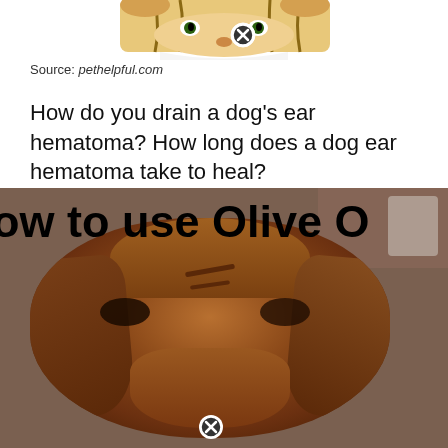[Figure (illustration): Partial illustration of a cartoon tiger or cat face, partially cropped at top of page, with a circular close/X button overlay]
Source: pethelpful.com
How do you drain a dog's ear hematoma? How long does a dog ear hematoma take to heal?
[Figure (photo): Close-up photo of a bloodhound dog face with wrinkled folds, overlaid with bold text reading 'ow to use Olive O' (partial text visible), and a circular close/X button at the bottom]